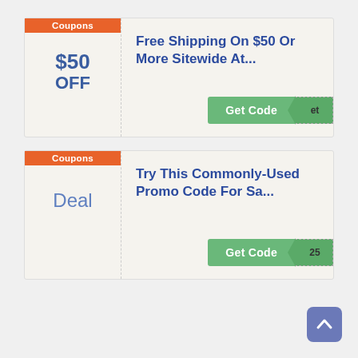Coupons
$50
OFF
Free Shipping On $50 Or More Sitewide At...
Get Code | et
Coupons
Deal
Try This Commonly-Used Promo Code For Sa...
Get Code | 25